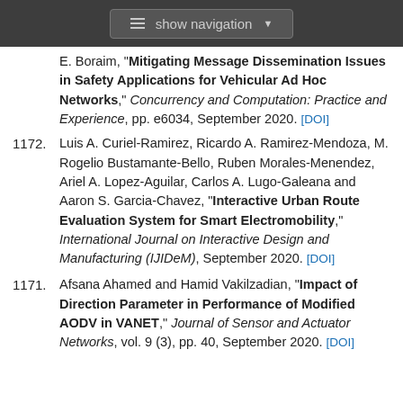show navigation
E. Boraim, "Mitigating Message Dissemination Issues in Safety Applications for Vehicular Ad Hoc Networks," Concurrency and Computation: Practice and Experience, pp. e6034, September 2020. [DOI]
1172. Luis A. Curiel-Ramirez, Ricardo A. Ramirez-Mendoza, M. Rogelio Bustamante-Bello, Ruben Morales-Menendez, Ariel A. Lopez-Aguilar, Carlos A. Lugo-Galeana and Aaron S. Garcia-Chavez, "Interactive Urban Route Evaluation System for Smart Electromobility," International Journal on Interactive Design and Manufacturing (IJIDeM), September 2020. [DOI]
1171. Afsana Ahamed and Hamid Vakilzadian, "Impact of Direction Parameter in Performance of Modified AODV in VANET," Journal of Sensor and Actuator Networks, vol. 9 (3), pp. 40, September 2020. [DOI]